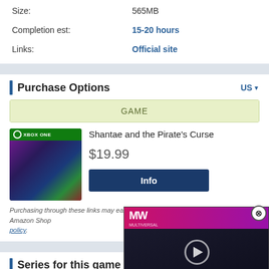Size: 565MB
Completion est: 15-20 hours
Links: Official site
Purchase Options
GAME
Shantae and the Pirate's Curse
$19.99
Info
Purchasing through these links may earn us a small commission. See our affiliate and Amazon Shop policy.
[Figure (screenshot): Advertisement overlay for 'Alone in the Dark Remake' video with MW logo, play button, and pink/red title text on dark background]
Series for this game